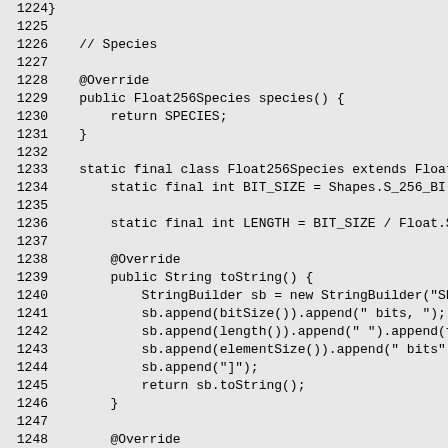[Figure (screenshot): Source code listing (Java) with line numbers 1224-1254, showing Float256 species class implementation with methods for species(), toString(), bitSize(), and @Override/@ForceInline annotations. Background is light gray.]